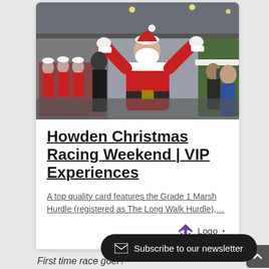[Figure (photo): Santa Claus in red suit with arms raised, surrounded by people in Christmas outfits at a racing venue]
Howden Christmas Racing Weekend | VIP Experiences
A top quality card features the Grade 1 Marsh Hurdle (registered as The Long Walk Hurdle),…
[Figure (logo): Diamond/chevron logo icon followed by 'Logo' text with a dot]
Subscribe to our newsletter
First time race goer?